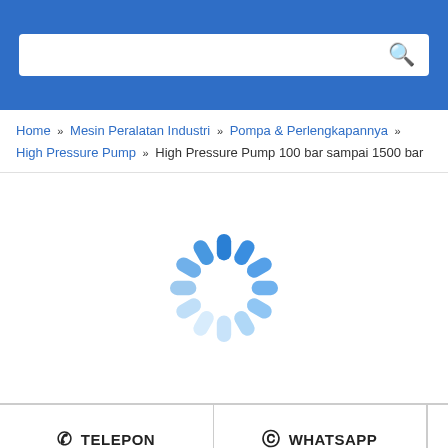[Figure (screenshot): Blue header bar with white search box and search icon on the right]
Home » Mesin Peralatan Industri » Pompa & Perlengkapannya » High Pressure Pump » High Pressure Pump 100 bar sampai 1500 bar
[Figure (other): Loading spinner icon — circular arrangement of rounded blue dashes fading from dark blue at top to light blue at sides]
TELEPON
WHATSAPP
Tambah Keranjang